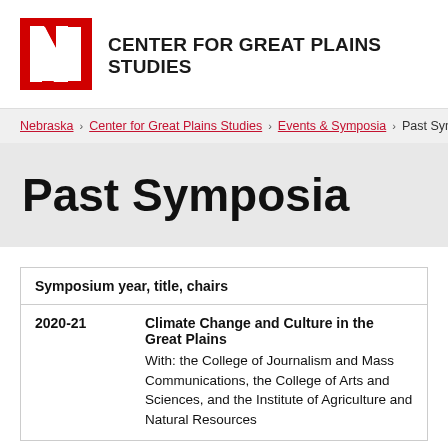[Figure (logo): University of Nebraska red block N logo with white N on red background]
CENTER FOR GREAT PLAINS STUDIES
Nebraska › Center for Great Plains Studies › Events & Symposia › Past Symposia
Past Symposia
| Symposium year, title, chairs |
| --- |
| 2020-21 | Climate Change and Culture in the Great Plains
With: the College of Journalism and Mass Communications, the College of Arts and Sciences, and the Institute of Agriculture and Natural Resources |